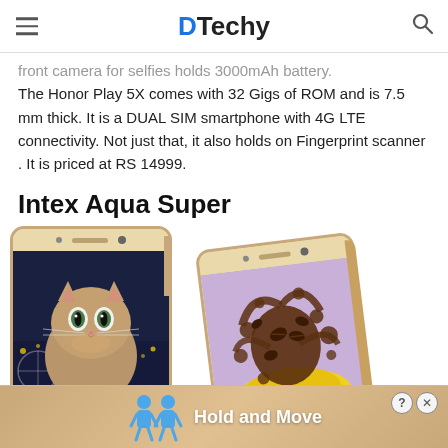DTechy
front camera for selfies holds 3000mAh battery. The Honor Play 5X comes with 32 Gigs of ROM and is 7.5 mm thick. It is a DUAL SIM smartphone with 4G LTE connectivity. Not just that, it also holds on Fingerprint scanner . It is priced at RS 14999.
Intex Aqua Super
[Figure (photo): Two gold-colored smartphones shown side by side. The left phone displays a cat on a city night background. The right phone is tilted showing a chocolate splash image.]
[Figure (infographic): Advertisement banner at the bottom showing 'Hold and Move' with two blue figures and a close button.]